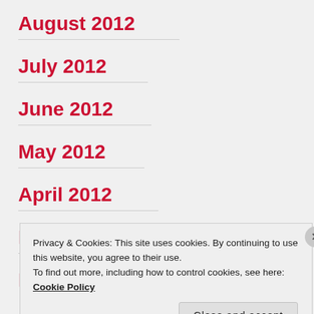August 2012
July 2012
June 2012
May 2012
April 2012
March 2012
February 2012
Privacy & Cookies: This site uses cookies. By continuing to use this website, you agree to their use.
To find out more, including how to control cookies, see here: Cookie Policy
Close and accept